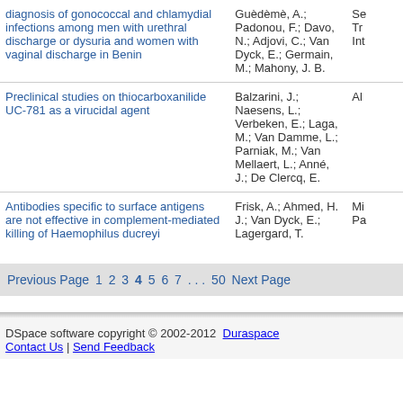| Title | Authors | Journal |
| --- | --- | --- |
| diagnosis of gonococcal and chlamydial infections among men with urethral discharge or dysuria and women with vaginal discharge in Benin | Guèdèmè, A.; Padonou, F.; Davo, N.; Adjovi, C.; Van Dyck, E.; Germain, M.; Mahony, J. B. | Se Tr Int |
| Preclinical studies on thiocarboxanilide UC-781 as a virucidal agent | Balzarini, J.; Naesens, L.; Verbeken, E.; Laga, M.; Van Damme, L.; Parniak, M.; Van Mellaert, L.; Anné, J.; De Clercq, E. | Al |
| Antibodies specific to surface antigens are not effective in complement-mediated killing of Haemophilus ducreyi | Frisk, A.; Ahmed, H. J.; Van Dyck, E.; Lagergard, T. | Mi Pa |
Previous Page  1  2  3  4  5  6  7  . . .  50  Next Page
DSpace software copyright © 2002-2012  Duraspace
Contact Us | Send Feedback